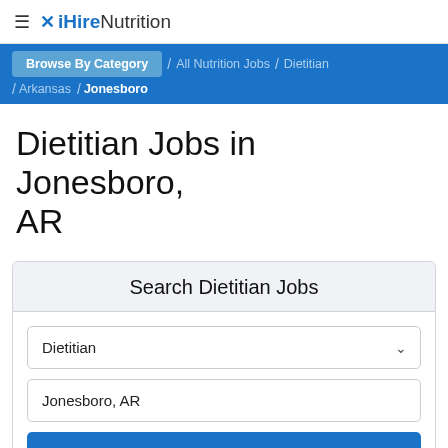≡ ✕ iHireNutrition
Browse By Category / All Nutrition Jobs / Dietitian / Arkansas / Jonesboro
Dietitian Jobs in Jonesboro, AR
Search Dietitian Jobs
Dietitian
Jonesboro, AR
Search